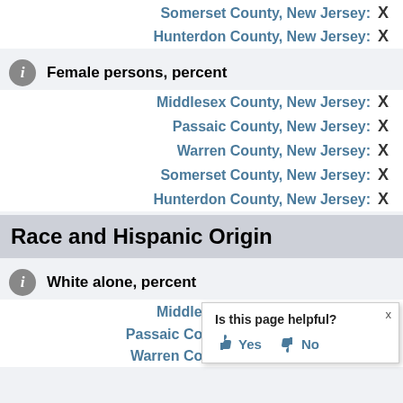Somerset County, New Jersey: X
Hunterdon County, New Jersey: X
Female persons, percent
Middlesex County, New Jersey: X
Passaic County, New Jersey: X
Warren County, New Jersey: X
Somerset County, New Jersey: X
Hunterdon County, New Jersey: X
Race and Hispanic Origin
White alone, percent
Middlesex County, New Jersey: X
Passaic County, New Jersey: X
Warren County, New Jersey: X
Is this page helpful? Yes No